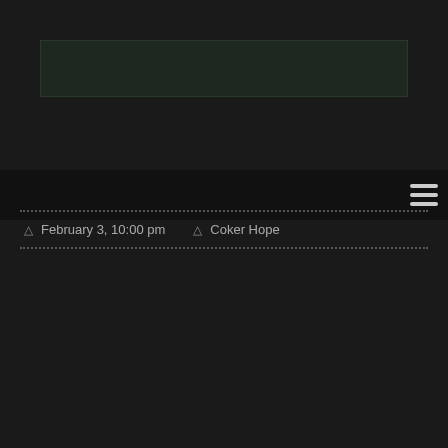[Figure (other): Dark header banner / logo area with dark green background]
Navigation bar with hamburger menu icon
February 3, 10:00 pm   Coker Hope
[Figure (photo): Large light gray image block placeholder]